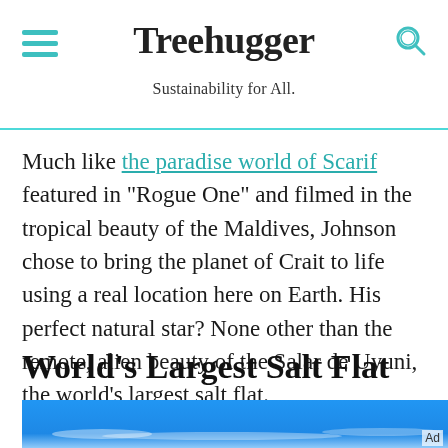Treehugger — Sustainability for All.
Much like the paradise world of Scarif featured in "Rogue One" and filmed in the tropical beauty of the Maldives, Johnson chose to bring the planet of Crait to life using a real location here on Earth. His perfect natural star? None other than the remote, alien beauty of the Salar de Uyuni, the world's largest salt flat.
World's Largest Salt Flat
[Figure (photo): Blue sky photograph, partial view of the Salar de Uyuni salt flat landscape]